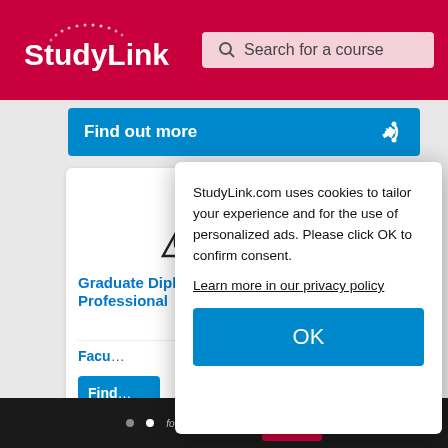StudyLink | Search for a course
Find out more
[Figure (logo): Manchester Metropolitan University logo with triangular recycling-style emblem and text 'Manchester Metropolitan University']
Graduate Diploma in Law (Common Professional
Facu
Find
StudyLink.com uses cookies to tailor your experience and for the use of personalized ads. Please click OK to confirm consent.
Learn more in our privacy policy
OK